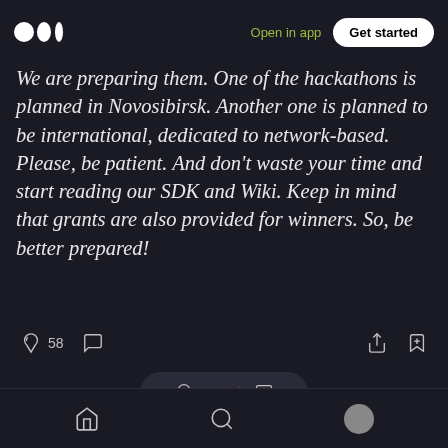Medium logo | Open in app | Get started
We are preparing them. One of the hackathons is planned in Novosibirsk. Another one is planned to be international, dedicated to network-based. Please, be patient. And don't waste your time and start reading our SDK and Wiki. Keep in mind that grants are also provided for winners. So, be better prepared!
[Figure (screenshot): Social interaction icons: clap (58), comment, share, bookmark]
[Figure (screenshot): Pill-shaped action bar with clap (58) and comment icons]
[Figure (screenshot): Bottom navigation bar with home, search, and profile icons]